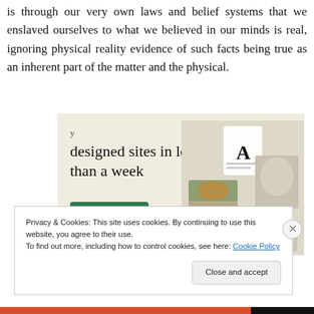is through our very own laws and belief systems that we enslaved ourselves to what we believed in our minds is real, ignoring physical reality evidence of such facts being true as an inherent part of the matter and the physical.
[Figure (screenshot): Advertisement banner with beige background showing 'designed sites in less than a week' text and an 'Explore options' green button, with a device mockup showing website screenshots on the right.]
Privacy & Cookies: This site uses cookies. By continuing to use this website, you agree to their use.
To find out more, including how to control cookies, see here: Cookie Policy
Close and accept